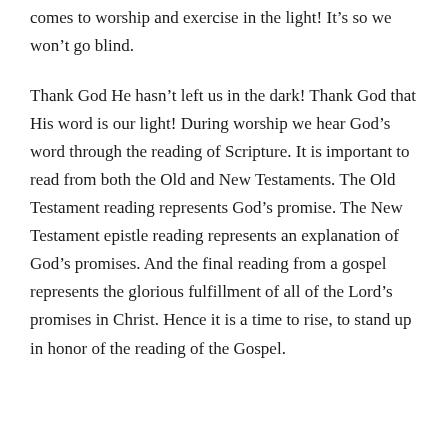comes to worship and exercise in the light! It's so we won't go blind.
Thank God He hasn't left us in the dark! Thank God that His word is our light! During worship we hear God's word through the reading of Scripture. It is important to read from both the Old and New Testaments. The Old Testament reading represents God's promise. The New Testament epistle reading represents an explanation of God's promises. And the final reading from a gospel represents the glorious fulfillment of all of the Lord's promises in Christ. Hence it is a time to rise, to stand up in honor of the reading of the Gospel.